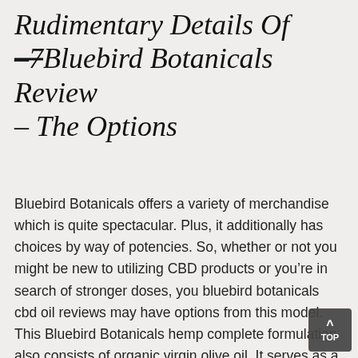Rudimentary Details Of Bluebird Botanicals Review – The Options
Bluebird Botanicals offers a variety of merchandise which is quite spectacular. Plus, it additionally has choices by way of potencies. So, whether or not you might be new to utilizing CBD products or you're in search of stronger doses, you bluebird botanicals cbd oil reviews may have options from this model. This Bluebird Botanicals hemp complete formulation also consists of organic virgin olive oil. It serves as a wonderful, nutritious provider for their hemp extract, and is well absorbed into the bloodstream.
In keeping with consumer reviews, totally different CBD oils could have sure unintended effects on some people. The most common ones embrace drowsiness, sleepiness, nausea.